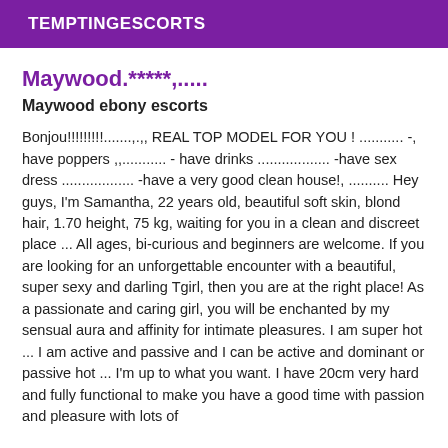TEMPTINGESCORTS
Maywood.*****,.....
Maywood ebony escorts
Bonjou!!!!!!!!!.......,.,, REAL TOP MODEL FOR YOU ! ........... -, have poppers ,,........... - have drinks .................. -have sex dress .................. -have a very good clean house!, .......... Hey guys, I'm Samantha, 22 years old, beautiful soft skin, blond hair, 1.70 height, 75 kg, waiting for you in a clean and discreet place ... All ages, bi-curious and beginners are welcome. If you are looking for an unforgettable encounter with a beautiful, super sexy and darling Tgirl, then you are at the right place! As a passionate and caring girl, you will be enchanted by my sensual aura and affinity for intimate pleasures. I am super hot ... I am active and passive and I can be active and dominant or passive hot ... I'm up to what you want. I have 20cm very hard and fully functional to make you have a good time with passion and pleasure with lots of